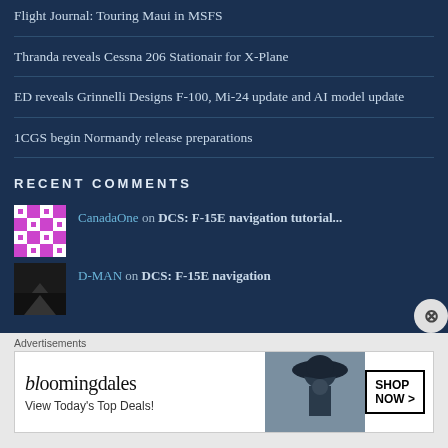Flight Journal: Touring Maui in MSFS
Thranda reveals Cessna 206 Stationair for X-Plane
ED reveals Grinnelli Designs F-100, Mi-24 update and AI model update
1CGS begin Normandy release preparations
RECENT COMMENTS
CanadaOne on DCS: F-15E navigation tutorial...
D-MAN on DCS: F-15E navigation
Advertisements
[Figure (other): Bloomingdale's advertisement banner with logo, 'View Today's Top Deals!' text, fashion photo and 'SHOP NOW >' button]